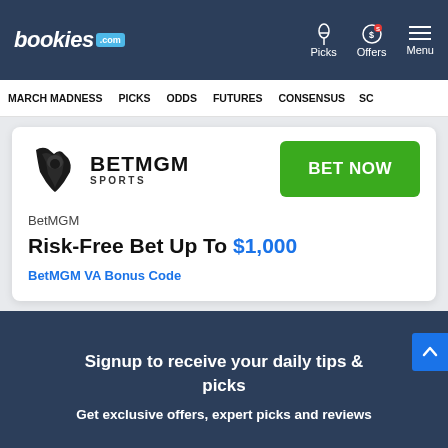bookies.com — Picks, Offers, Menu
MARCH MADNESS | PICKS | ODDS | FUTURES | CONSENSUS | SC
[Figure (logo): BetMGM Sports lion logo with BETMGM SPORTS text]
BET NOW
BetMGM
Risk-Free Bet Up To $1,000
BetMGM VA Bonus Code
Signup to receive your daily tips & picks
Get exclusive offers, expert picks and reviews